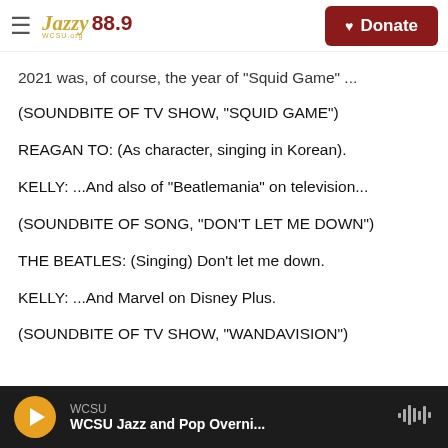Jazzy 88.9 WCSU — Donate
2021 was, of course, the year of 'Squid Game' ...
(SOUNDBITE OF TV SHOW, "SQUID GAME")
REAGAN TO: (As character, singing in Korean).
KELLY: ...And also of "Beatlemania" on television...
(SOUNDBITE OF SONG, "DON'T LET ME DOWN")
THE BEATLES: (Singing) Don't let me down.
KELLY: ...And Marvel on Disney Plus.
(SOUNDBITE OF TV SHOW, "WANDAVISION")
WCSU — WCSU Jazz and Pop Overni...